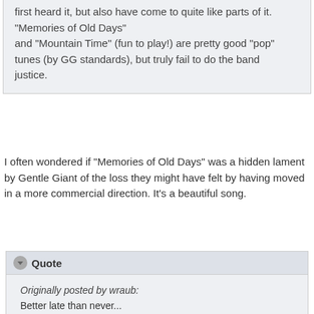first heard it, but also have come to quite like parts of it. "Memories of Old Days" and "Mountain Time" (fun to play!) are pretty good "pop" tunes (by GG standards), but truly fail to do the band justice.
I often wondered if "Memories of Old Days" was a hidden lament by Gentle Giant of the loss they might have felt by having moved in a more commercial direction. It's a beautiful song.
Quote
Originally posted by wraub:
Better late than never...

Gentle Giant web page
That link has actually been hidden like an Easter egg in all of my posts in this thread. Can you find it? 🙂
Quote